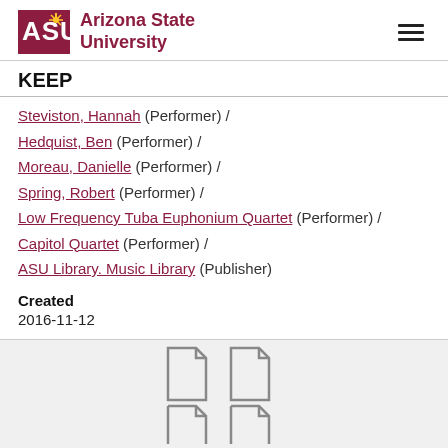ASU Arizona State University | KEEP
Steviston, Hannah (Performer) / Hedquist, Ben (Performer) / Moreau, Danielle (Performer) / Spring, Robert (Performer) / Low Frequency Tuba Euphonium Quartet (Performer) / Capitol Quartet (Performer) / ASU Library. Music Library (Publisher)
Created
2016-11-12
[Figure (illustration): Four document/file icons arranged in a 2x2 grid at the bottom of the page on a light gray background]